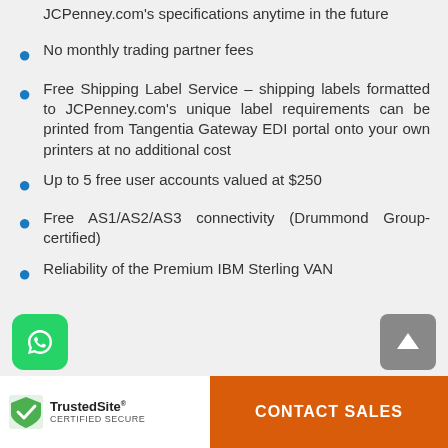JCPenney.com's specifications anytime in the future
No monthly trading partner fees
Free Shipping Label Service – shipping labels formatted to JCPenney.com's unique label requirements can be printed from Tangentia Gateway EDI portal onto your own printers at no additional cost
Up to 5 free user accounts valued at $250
Free AS1/AS2/AS3 connectivity (Drummond Group-certified)
Reliability of the Premium IBM Sterling VAN
CONTACT SALES